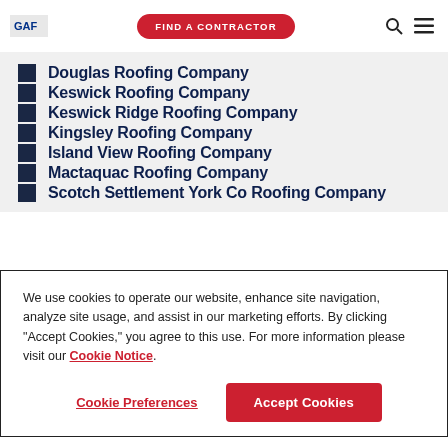GAF | FIND A CONTRACTOR
Douglas Roofing Company
Keswick Roofing Company
Keswick Ridge Roofing Company
Kingsley Roofing Company
Island View Roofing Company
Mactaquac Roofing Company
Scotch Settlement York Co Roofing Company
We use cookies to operate our website, enhance site navigation, analyze site usage, and assist in our marketing efforts. By clicking "Accept Cookies," you agree to this use. For more information please visit our Cookie Notice.
Cookie Preferences | Accept Cookies